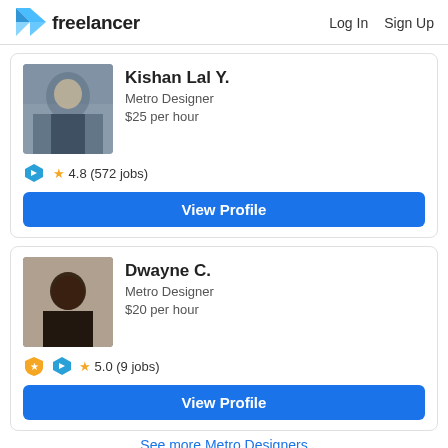freelancer  Log In  Sign Up
Kishan Lal Y.
Metro Designer
$25 per hour
★ 4.8 (572 jobs)
View Profile
Dwayne C.
Metro Designer
$20 per hour
★ 5.0 (9 jobs)
View Profile
See more Metro Designers